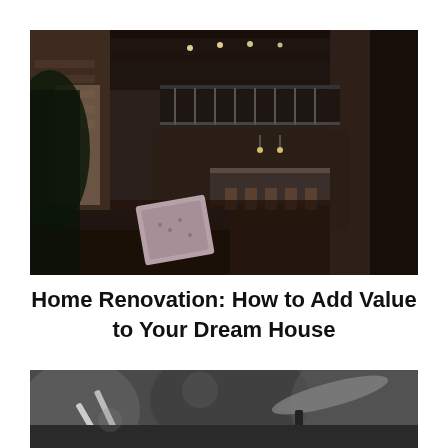[Figure (photo): Interior photo of a modern industrial-style open-plan living space with exposed brick walls, high ceilings with pendant lights, a dark leather sofa with a patterned pillow in the foreground, and a dining area with chairs in the background. Dark, moody lighting.]
Home Renovation: How to Add Value to Your Dream House
[Figure (photo): Black and white photo partially visible at the bottom of the page, showing what appears to be drumsticks or musical instruments with a blurred/bokeh background.]